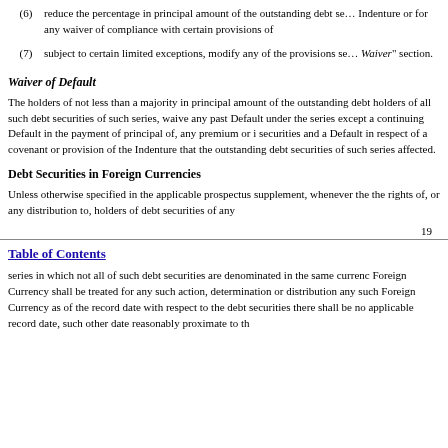(6) reduce the percentage in principal amount of the outstanding debt securities of such series or Indenture or for any waiver of compliance with certain provisions of
(7) subject to certain limited exceptions, modify any of the provisions set forth in this "Amendment and Waiver" section.
Waiver of Default
The holders of not less than a majority in principal amount of the outstanding debt securities of such series may, on behalf of the holders of all such debt securities of such series, waive any past Default under the Indenture with respect to debt securities of that series except a continuing Default in the payment of principal of, any premium or interest on, any debt security of that series and certain other securities and a Default in respect of a covenant or provision of the Indenture that cannot be modified or amended without the consent of the holder of each of the outstanding debt securities of such series affected.
Debt Securities in Foreign Currencies
Unless otherwise specified in the applicable prospectus supplement, whenever the Indenture provides for any action by, or the determination of any of the rights of, or any distribution to, holders of debt securities of any
19
Table of Contents
series in which not all of such debt securities are denominated in the same currency, any amount in or expressed in a Foreign Currency shall be treated for any such action, determination or distribution as the amount of U.S. dollars that could be obtained for any such Foreign Currency as of the record date with respect to the debt securities or, if there is no applicable record date, such other date reasonably proximate to the